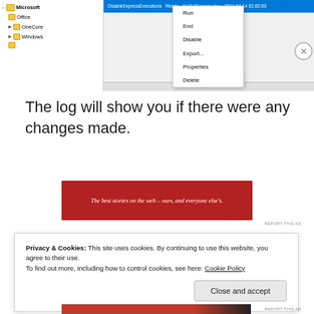[Figure (screenshot): Windows Task Scheduler screenshot showing a tree panel on the left with Microsoft, Office, OneCore, Windows folders, and a right panel with a highlighted task row and a right-click context menu showing options: Run, End, Disable, Export..., Properties, Delete]
The log will show you if there were any changes made.
[Figure (screenshot): Red advertisement banner reading: The best stories on the web – ours, and everyone else's.]
Privacy & Cookies: This site uses cookies. By continuing to use this website, you agree to their use.
To find out more, including how to control cookies, see here: Cookie Policy
Close and accept